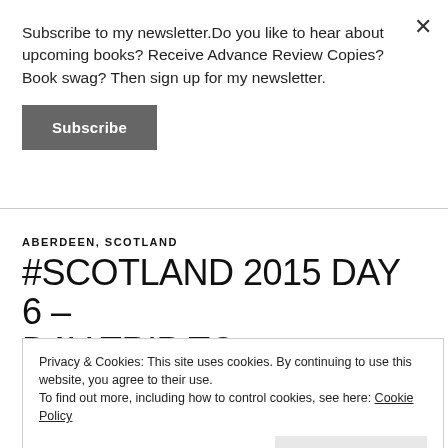Subscribe to my newsletter.Do you like to hear about upcoming books? Receive Advance Review Copies? Book swag? Then sign up for my newsletter.
Subscribe
ABERDEEN, SCOTLAND
#SCOTLAND 2015 DAY 6 – DAY TRIP TO ABERDEEN
Privacy & Cookies: This site uses cookies. By continuing to use this website, you agree to their use.
To find out more, including how to control cookies, see here: Cookie Policy
Close and accept
We decided last night that today would be the day we went to